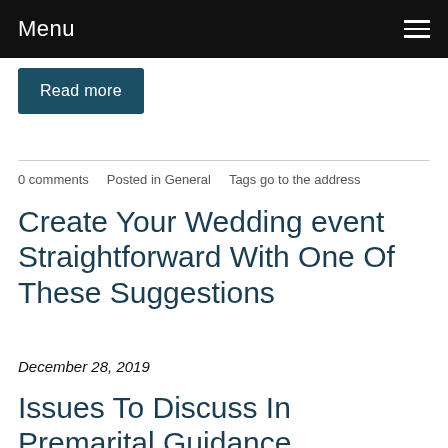Menu
Read more
0 comments   Posted in General   Tags go to the address
Create Your Wedding event Straightforward With One Of These Suggestions
December 28, 2019
Issues To Discuss In Premarital Guidance